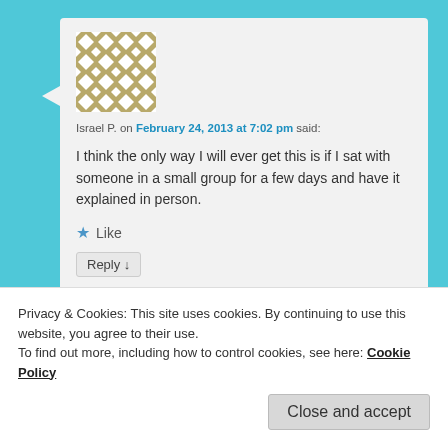[Figure (illustration): Geometric quilt-pattern avatar in gold/tan and white diamond grid pattern]
Israel P. on February 24, 2013 at 7:02 pm said:
I think the only way I will ever get this is if I sat with someone in a small group for a few days and have it explained in person.
★ Like
Reply ↓
Privacy & Cookies: This site uses cookies. By continuing to use this website, you agree to their use.
To find out more, including how to control cookies, see here: Cookie Policy
Close and accept
am said: